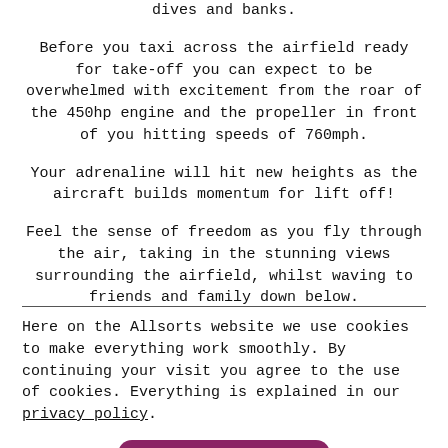dives and banks.
Before you taxi across the airfield ready for take-off you can expect to be overwhelmed with excitement from the roar of the 450hp engine and the propeller in front of you hitting speeds of 760mph.
Your adrenaline will hit new heights as the aircraft builds momentum for lift off!
Feel the sense of freedom as you fly through the air, taking in the stunning views surrounding the airfield, whilst waving to friends and family down below.
Here on the Allsorts website we use cookies to make everything work smoothly. By continuing your visit you agree to the use of cookies. Everything is explained in our privacy policy.
That's OK